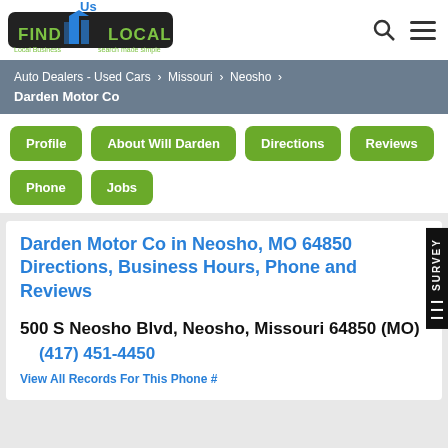[Figure (logo): Find Us Local logo with green text on black background and blue building graphic]
Auto Dealers - Used Cars > Missouri > Neosho > Darden Motor Co
Profile
About Will Darden
Directions
Reviews
Phone
Jobs
Darden Motor Co in Neosho, MO 64850 Directions, Business Hours, Phone and Reviews
500 S Neosho Blvd, Neosho, Missouri 64850 (MO)   (417) 451-4450
View All Records For This Phone #